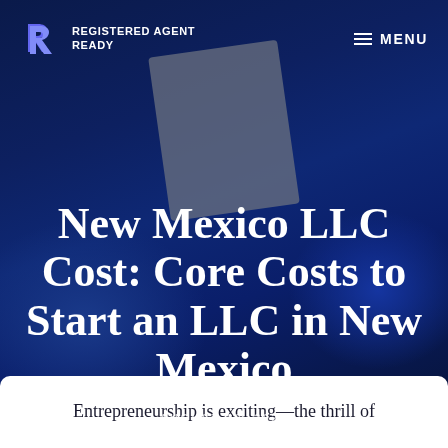REGISTERED AGENT READY | MENU
[Figure (logo): Registered Agent Ready logo with stylized R icon in blue/purple and white text]
New Mexico LLC Cost: Core Costs to Start an LLC in New Mexico
AUGUST 22, 2021
Entrepreneurship is exciting—the thrill of